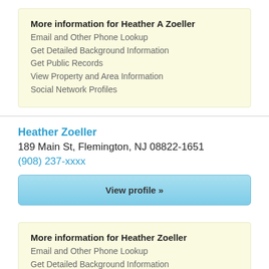More information for Heather A Zoeller
Email and Other Phone Lookup
Get Detailed Background Information
Get Public Records
View Property and Area Information
Social Network Profiles
Heather Zoeller
189 Main St, Flemington, NJ 08822-1651
(908) 237-xxxx
View profile »
More information for Heather Zoeller
Email and Other Phone Lookup
Get Detailed Background Information
Get Public Records